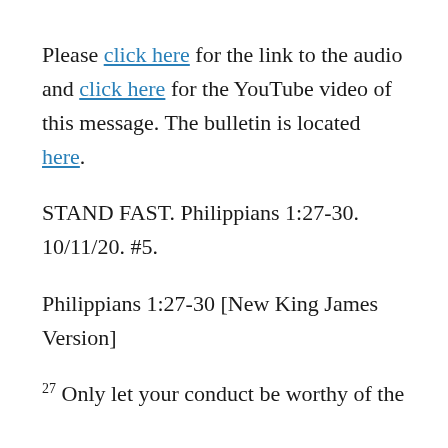Please click here for the link to the audio and click here for the YouTube video of this message. The bulletin is located here.
STAND FAST. Philippians 1:27-30. 10/11/20. #5.
Philippians 1:27-30 [New King James Version]
27 Only let your conduct be worthy of the